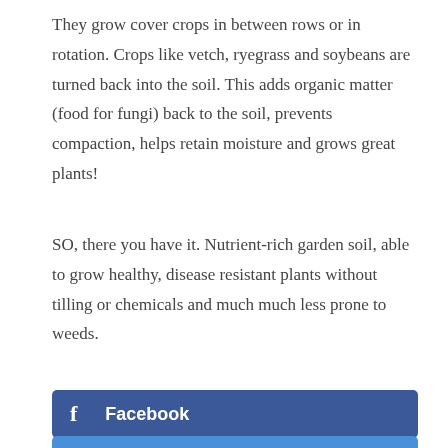They grow cover crops in between rows or in rotation. Crops like vetch, ryegrass and soybeans are turned back into the soil. This adds organic matter (food for fungi) back to the soil, prevents compaction, helps retain moisture and grows great plants!
SO, there you have it. Nutrient-rich garden soil, able to grow healthy, disease resistant plants without tilling or chemicals and much much less prone to weeds.
[Figure (other): Facebook share button — blue rectangle with Facebook 'f' icon and bold white text 'Facebook']